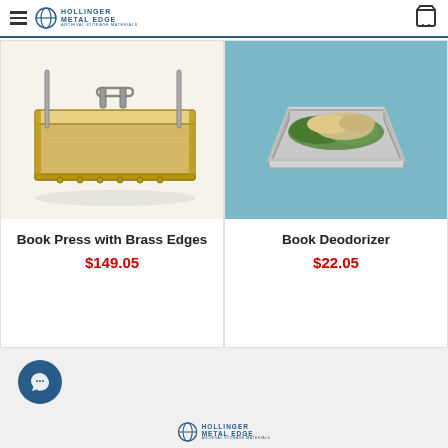Hollinger Metal Edge - Archival Storage Materials
[Figure (photo): Book Press with Brass Edges product photo - wooden box-style press with handle and brass corner edges]
Book Press with Brass Edges
$149.05
[Figure (photo): Book Deodorizer product photo - aluminum tray filled with greenish and sandy deodorizing material on blue background]
Book Deodorizer
$22.05
Hollinger Metal Edge - Archival Storage Materials